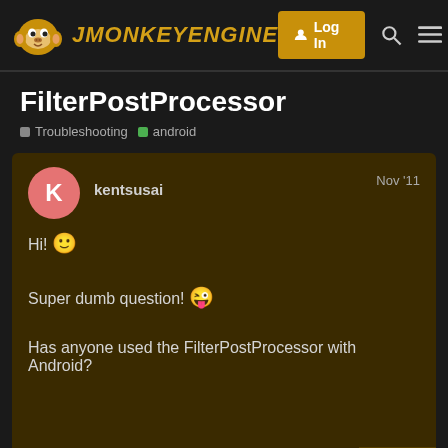jMonkeyEngine — Log In
FilterPostProcessor
Troubleshooting  android
kentsusai  Nov '11
Hi! 🙂
Super dumb question! 😜
Has anyone used the FilterPostProcessor with Android?
1 / 7